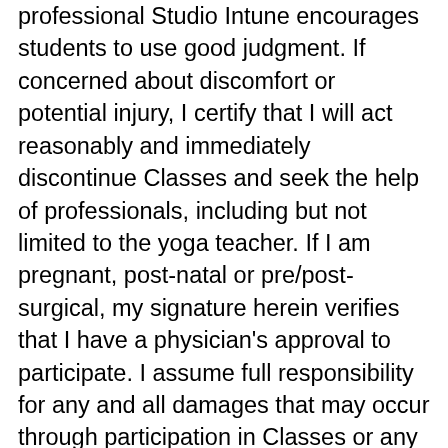professional Studio Intune encourages students to use good judgment. If concerned about discomfort or potential injury, I certify that I will act reasonably and immediately discontinue Classes and seek the help of professionals, including but not limited to the yoga teacher. If I am pregnant, post-natal or pre/post-surgical, my signature herein verifies that I have a physician's approval to participate. I assume full responsibility for any and all damages that may occur through participation in Classes or any activity that I elect to participate with Studio Intune. I certify that I have read these terms carefully and I am signing this agreement freely and voluntarily. The laws of The State of California shall govern this agreement. My signature below serves as a complete and unconditional release of liability to the maximum extent allowable by The State of California. By signing this release, I am waiving certain legal rights I or my heirs, next of kin,